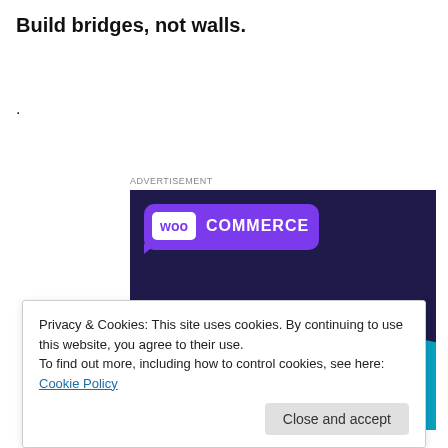Build bridges, not walls.
.
Advertisement
[Figure (illustration): WooCommerce advertisement banner with purple/dark navy background, WooCommerce logo in purple speech-bubble, green triangle and blue circle decorative shapes, text: Turn your hobby into a business in 8 steps]
Privacy & Cookies: This site uses cookies. By continuing to use this website, you agree to their use.
To find out more, including how to control cookies, see here: Cookie Policy
Close and accept